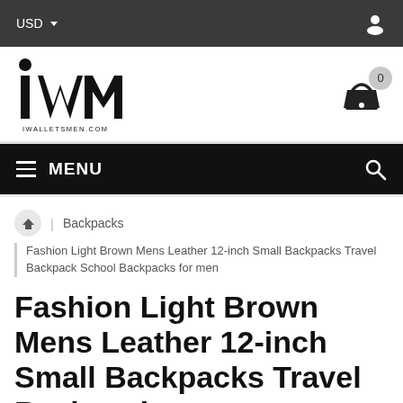USD ▾  [user icon]
[Figure (logo): iWM (iwalletsmen.com) logo — large stylized WM lettermark with dot above i, text IWALLETSMEN.COM below]
≡ MENU  🔍  [shopping basket with badge: 0]
🏠 | Backpacks
Fashion Light Brown Mens Leather 12-inch Small Backpacks Travel Backpack School Backpacks for men
Fashion Light Brown Mens Leather 12-inch Small Backpacks Travel Backpacks…